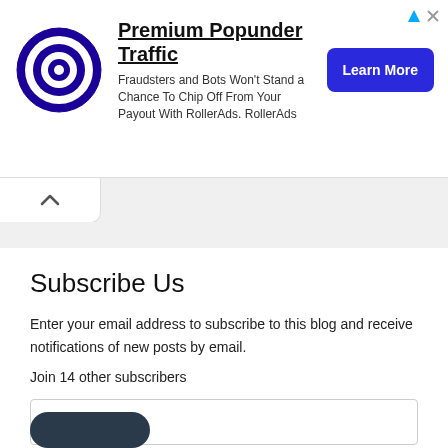[Figure (infographic): Advertisement banner for RollerAds Premium Popunder Traffic. Shows a bullseye logo, title 'Premium Popunder Traffic', body text 'Fraudsters and Bots Won't Stand a Chance To Chip Off From Your Payout With RollerAds. RollerAds', and a blue 'Learn More' button.]
Subscribe Us
Enter your email address to subscribe to this blog and receive notifications of new posts by email.
Join 14 other subscribers